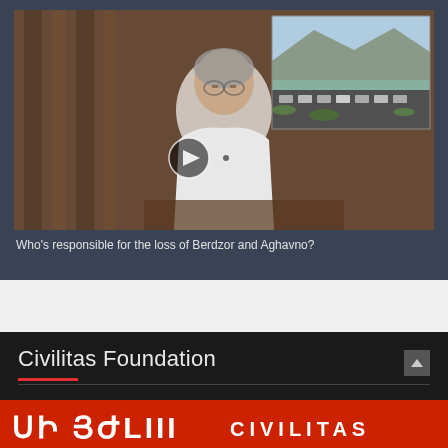[Figure (screenshot): Video thumbnail showing a man in a white shirt sitting at a desk, with a smaller inset image showing an aerial view of a convoy of vehicles on a road near a hillside.]
Who's responsible for the loss of Berdzor and Aghavno?
Civilitas Foundation
[Figure (logo): Civilitas Foundation banner with Armenian text and CIVILITAS logo on a red background.]